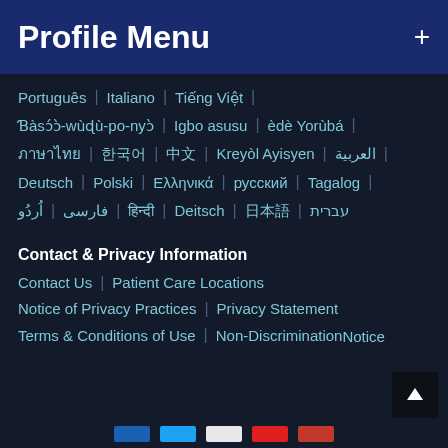Profile Menu
Português | Italiano | Tiếng Việt |
Ɓàsɔ́ɔ̀-wùɖù-po-nyɔ̀ | Igbo asusu | èdè Yorùbá |
ภาษาไทย | 한국어 | 中文 | Kreyòl Ayisyen | العربية |
Deutsch | Polski | Ελληνικά | русский | Tagalog |
اُردُو | فارسی | हिन्दी | Deitsch | 日本語 | עברית
Contact & Privacy Information
Contact Us | Patient Care Locations
Notice of Privacy Practices | Privacy Statement
Terms & Conditions of Use | Non-Discrimination Notice